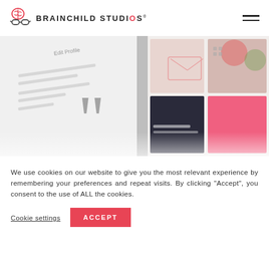BRAINCHILD STUDIOS
[Figure (screenshot): Screenshot of design/branding work — shows a profile edit UI on the left, a large quotation mark in the center, and a grid of social media/brand images on the right, all slightly faded/overlapping.]
We use cookies on our website to give you the most relevant experience by remembering your preferences and repeat visits. By clicking “Accept”, you consent to the use of ALL the cookies.
Cookie settings
ACCEPT